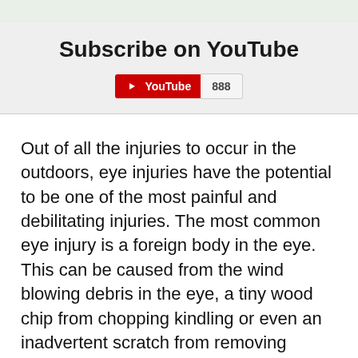Subscribe on YouTube
[Figure (logo): YouTube subscribe button widget showing red YouTube button with play icon and text 'YouTube', followed by a subscriber count badge showing '888']
Out of all the injuries to occur in the outdoors, eye injuries have the potential to be one of the most painful and debilitating injuries. The most common eye injury is a foreign body in the eye. This can be caused from the wind blowing debris in the eye, a tiny wood chip from chopping kindling or even an inadvertent scratch from removing contact lenses. The smallest of foreign bodies have the tendency to feel like something the size of Texas in your eye.